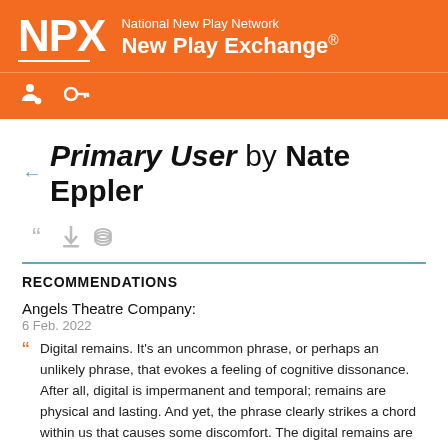NPX National New Play Network New Play Exchange®
Primary User by Nate Eppler
RECOMMENDATIONS
Angels Theatre Company:
6 Feb. 2022
Digital remains. It's an uncommon phrase, or perhaps an unlikely phrase, that evokes a feeling of cognitive dissonance. After all, digital is impermanent and temporal; remains are physical and lasting. And yet, the phrase clearly strikes a chord within us that causes some discomfort. The digital remains are simply the